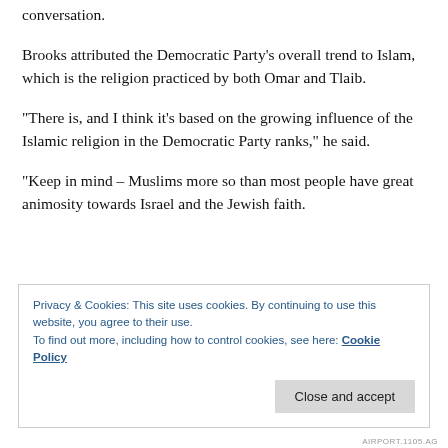conversation.
Brooks attributed the Democratic Party's overall trend to Islam, which is the religion practiced by both Omar and Tlaib.
“There is, and I think it’s based on the growing influence of the Islamic religion in the Democratic Party ranks,” he said.
“Keep in mind – Muslims more so than most people have great animosity towards Israel and the Jewish faith.
Privacy & Cookies: This site uses cookies. By continuing to use this website, you agree to their use. To find out more, including how to control cookies, see here: Cookie Policy
Close and accept
AIRPORT.1105.AG